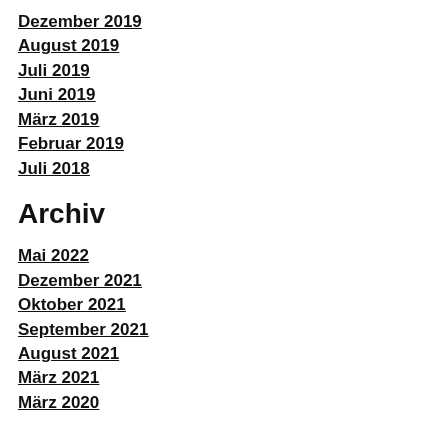Dezember 2019
August 2019
Juli 2019
Juni 2019
März 2019
Februar 2019
Juli 2018
Archiv
Mai 2022
Dezember 2021
Oktober 2021
September 2021
August 2021
März 2021
März 2020